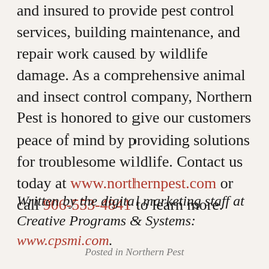and insured to provide pest control services, building maintenance, and repair work caused by wildlife damage. As a comprehensive animal and insect control company, Northern Pest is honored to give our customers peace of mind by providing solutions for troublesome wildlife. Contact us today at www.northernpest.com or call 906-553-4841 to learn more.
Written by the digital marketing staff at Creative Programs & Systems: www.cpsmi.com.
Posted in Northern Pest